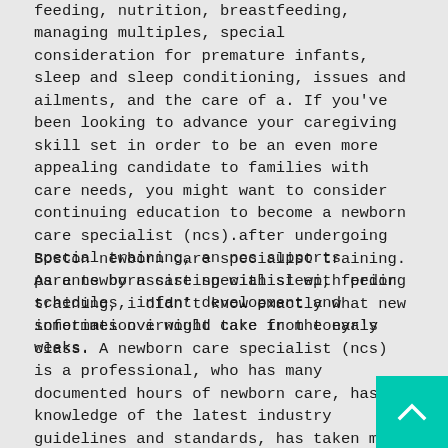feeding, nutrition, breastfeeding, managing multiples, special consideration for premature infants, sleep and sleep conditioning, issues and ailments, and the care of a. If you've been looking to advance your caregiving skill set in order to be an even more appealing candidate to families with care needs, you might want to consider continuing education to become a newborn care specialist (ncs).after undergoing special training, an ncs supports parents by assisting with sleep, feeding schedules, infant development and sometimes overnight care in the early weeks.
Boston newborn care specialist training. As a newborn care specialist with prior training, i didn't know exactly what new information i would take from tonya's class. A newborn care specialist (ncs) is a professional, who has many documented hours of newborn care, has knowledge of the latest industry guidelines and standards, has taken many classes and trainings focused specifically on the care and development of a newborn, and is very aware of situations that may require referrals to doctors or other professionals that care for newborns.